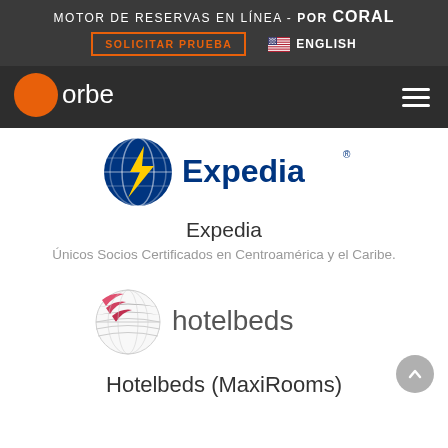MOTOR DE RESERVAS EN LÍNEA - POR CORAL
SOLICITAR PRUEBA
ENGLISH
[Figure (logo): Corbe logo — orange circle with white C, white text 'orbe']
[Figure (logo): Expedia logo — dark blue globe with yellow lightning bolt and white text 'Expedia']
Expedia
Únicos Socios Certificados en Centroamérica y el Caribe.
[Figure (logo): Hotelbeds logo — grey and pink globe grid, text 'hotelbeds']
Hotelbeds (MaxiRooms)